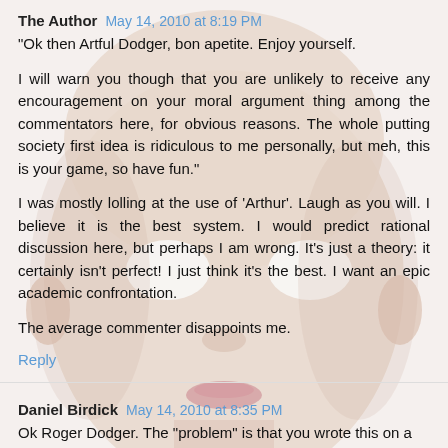The Author  May 14, 2010 at 8:19 PM
"Ok then Artful Dodger, bon apetite. Enjoy yourself.

I will warn you though that you are unlikely to receive any encouragement on your moral argument thing among the commentators here, for obvious reasons. The whole putting society first idea is ridiculous to me personally, but meh, this is your game, so have fun."

I was mostly lolling at the use of 'Arthur'. Laugh as you will. I believe it is the best system. I would predict rational discussion here, but perhaps I am wrong. It's just a theory: it certainly isn't perfect! I just think it's the best. I want an epic academic confrontation.

The average commenter disappoints me.
Reply
Daniel Birdick  May 14, 2010 at 8:35 PM
Ok Roger Dodger. The "problem" is that you wrote this on a